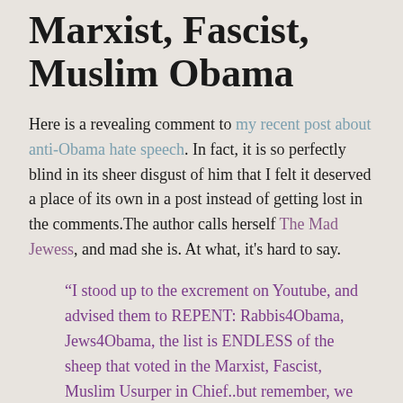Marxist, Fascist, Muslim Obama
Here is a revealing comment to my recent post about anti-Obama hate speech. In fact, it is so perfectly blind in its sheer disgust of him that I felt it deserved a place of its own in a post instead of getting lost in the comments.The author calls herself The Mad Jewess, and mad she is. At what, it's hard to say.
“I stood up to the excrement on Youtube, and advised them to REPENT: Rabbis4Obama, Jews4Obama, the list is ENDLESS of the sheep that voted in the Marxist, Fascist, Muslim Usurper in Chief..but remember, we dont make up a whole heckuva lot of the populace, and